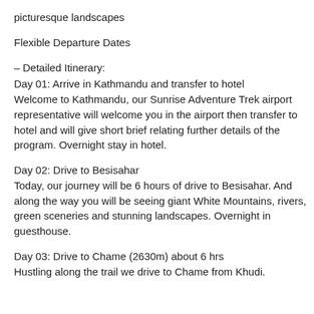picturesque landscapes
Flexible Departure Dates
– Detailed Itinerary:
Day 01: Arrive in Kathmandu and transfer to hotel
Welcome to Kathmandu, our Sunrise Adventure Trek airport representative will welcome you in the airport then transfer to hotel and will give short brief relating further details of the program. Overnight stay in hotel.
Day 02: Drive to Besisahar
Today, our journey will be 6 hours of drive to Besisahar. And along the way you will be seeing giant White Mountains, rivers, green sceneries and stunning landscapes. Overnight in guesthouse.
Day 03: Drive to Chame (2630m) about 6 hrs
Hustling along the trail we drive to Chame from Khudi.